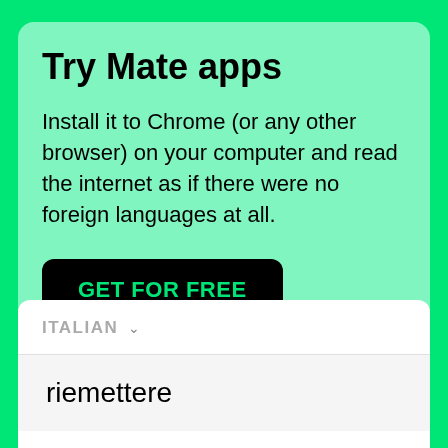Try Mate apps
Install it to Chrome (or any other browser) on your computer and read the internet as if there were no foreign languages at all.
GET FOR FREE
ITALIAN
riemettere